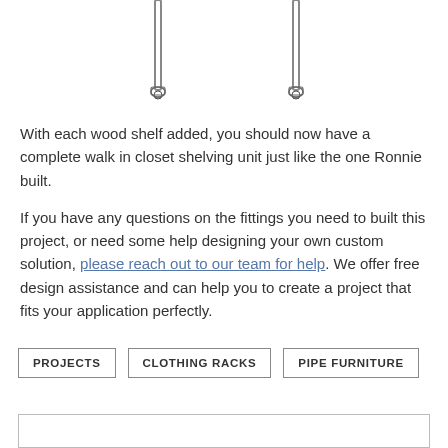[Figure (illustration): Partial view of two metal pipe fittings or rod ends with small round connectors at the bottom, shown against a white background. The image is cropped, showing only the lower portion of two vertical metal rods.]
With each wood shelf added, you should now have a complete walk in closet shelving unit just like the one Ronnie built.
If you have any questions on the fittings you need to built this project, or need some help designing your own custom solution, please reach out to our team for help. We offer free design assistance and can help you to create a project that fits your application perfectly.
PROJECTS
CLOTHING RACKS
PIPE FURNITURE